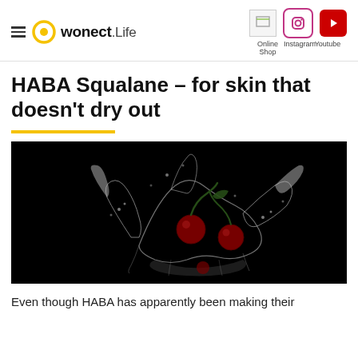wonect.Life — Online Shop | Instagram | Youtube
HABA Squalane – for skin that doesn't dry out
[Figure (photo): Cherries splashing in water against a black background, high-speed photography]
Even though HABA has apparently been making their